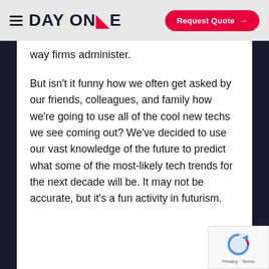DAY ONE — Request Quote
way firms administer.
But isn't it funny how we often get asked by our friends, colleagues, and family how we're going to use all of the cool new techs we see coming out? We've decided to use our vast knowledge of the future to predict what some of the most-likely tech trends for the next decade will be. It may not be accurate, but it's a fun activity in futurism.